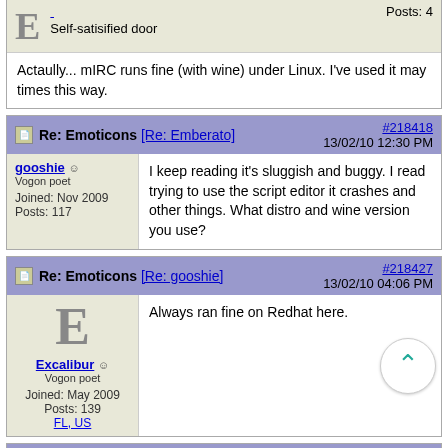Self-satisified door
Posts: 4
Actaully... mIRC runs fine (with wine) under Linux. I've used it may times this way.
Re: Emoticons [Re: Emberato] #218418 13/02/10 12:30 PM
gooshie
Vogon poet
Joined: Nov 2009
Posts: 117
I keep reading it's sluggish and buggy. I read trying to use the script editor it crashes and other things. What distro and wine version you use?
Re: Emoticons [Re: gooshie] #218427 13/02/10 04:06 PM
Excalibur
Vogon poet
Joined: May 2009
Posts: 139
FL, US
Always ran fine on Redhat here.
Re: Emoticons [Re: gooshie] #218435 13/02/10 09:16 PM